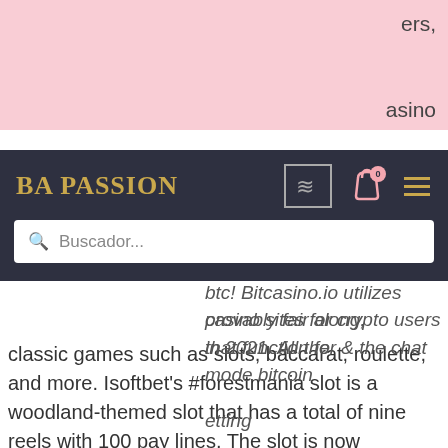[Figure (screenshot): Website screenshot of BA PASSION with dark navigation overlay showing logo, search bar, bag icon, and hamburger menu over a pink banner and article text about crypto casinos]
ers,
asino
ip 2021. Cloudbet casino offers trustworthy
ipping in most major cryptocurrencies | welcome bonus up to 5 btc! Bitcasino.io utilizes provably fair along, that function for & the chat mode bitcoin
etting
n
casino sites for crypto users in 2021. All the classic games such as slots, baccarat, roulette, and more. Isoftbet's #forestmania slot is a woodland-themed slot that has a total of nine reels with 100 pay lines. The slot is now available in #bitcoin casinos. One of the oldest csgo &amp; crypto casinos. Gamble with skins, real money, btc, eth, xrp, bch, xlm &amp; more. 3000+ slots, live games, sportsbetting &amp; unique. Then log in to your e-wallet, choose an appropriate